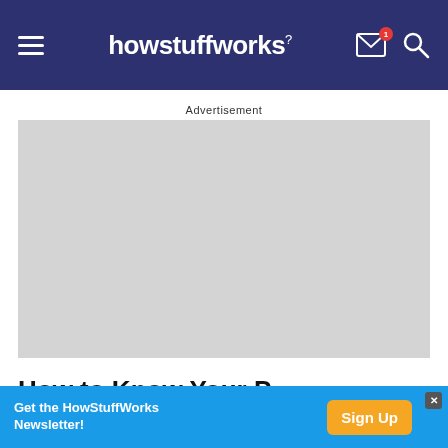howstuffworks
Advertisement
[Figure (other): Gray advertisement placeholder box]
How to Know Your P...
Get the HowStuffWorks Newsletter! Sign Up